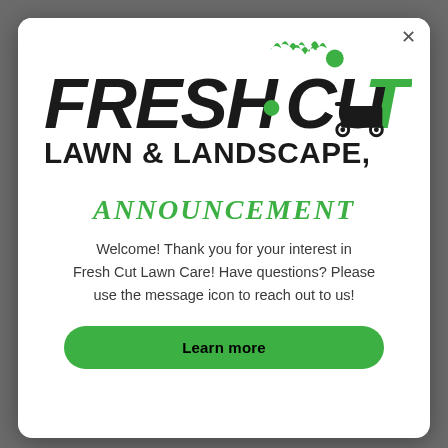[Figure (logo): Fresh Cut Lawn & Landscape logo — bold green and black stylized text with grass blades and a lawn mower icon]
ANNOUNCEMENT
Welcome! Thank you for your interest in Fresh Cut Lawn Care! Have questions? Please use the message icon to reach out to us!
Learn more